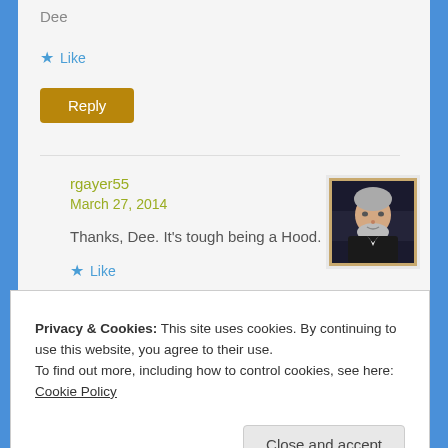Dee
★ Like
Reply
rgayer55
March 27, 2014
[Figure (photo): Small avatar photo of a person with gray hair and beard wearing a dark jacket]
Thanks, Dee. It's tough being a Hood.
★ Like
Reply (partial)
Privacy & Cookies: This site uses cookies. By continuing to use this website, you agree to their use.
To find out more, including how to control cookies, see here: Cookie Policy
Close and accept
janet